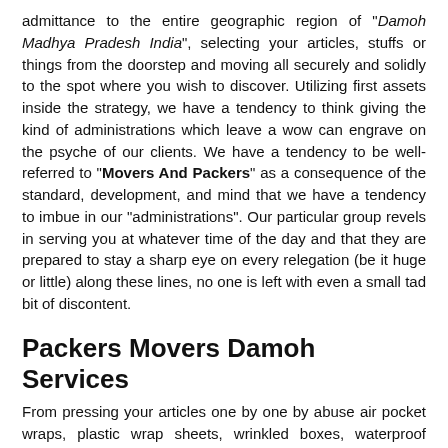admittance to the entire geographic region of "Damoh Madhya Pradesh India", selecting your articles, stuffs or things from the doorstep and moving all securely and solidly to the spot where you wish to discover. Utilizing first assets inside the strategy, we have a tendency to think giving the kind of administrations which leave a wow can engrave on the psyche of our clients. We have a tendency to be well-referred to "Movers And Packers" as a consequence of the standard, development, and mind that we have a tendency to imbue in our "administrations". Our particular group revels in serving you at whatever time of the day and that they are prepared to stay a sharp eye on every relegation (be it huge or little) along these lines, no one is left with even a small tad bit of discontent.
Packers Movers Damoh Services
From pressing your articles one by one by abuse air pocket wraps, plastic wrap sheets, wrinkled boxes, waterproof containers, and string tapes to securing them with locks and seals though they are being transported through our extraordinarily composed family Carriers, we have a tendency to give our full thoughtfulness regarding each step concerned inside the Moving system at "Movers And Packers Damoh". We have escaped from box answers for all or any you are Moving questions and issues.